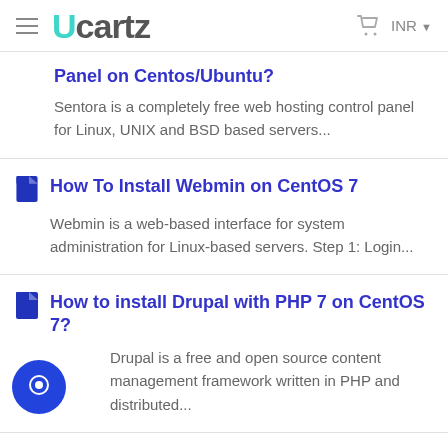Ucartz — INR
Panel on Centos/Ubuntu?
Sentora is a completely free web hosting control panel for Linux, UNIX and BSD based servers...
How To Install Webmin on CentOS 7
Webmin is a web-based interface for system administration for Linux-based servers. Step 1: Login...
How to install Drupal with PHP 7 on CentOS 7?
Drupal is a free and open source content management framework written in PHP and distributed...